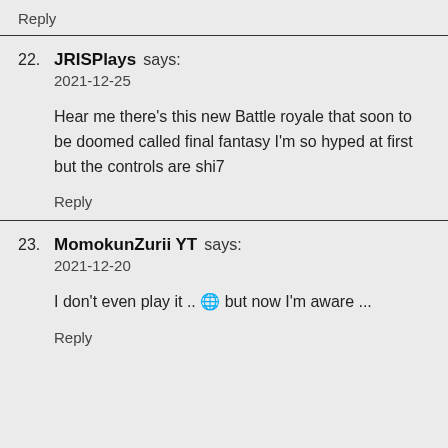Reply
22. JRISPlays says:
2021-12-25

Hear me there's this new Battle royale that soon to be doomed called final fantasy I'm so hyped at first but the controls are shi7

Reply
23. MomokunZurii YT says:
2021-12-20

I don't even play it .. 🌐 but now I'm aware ...

Reply